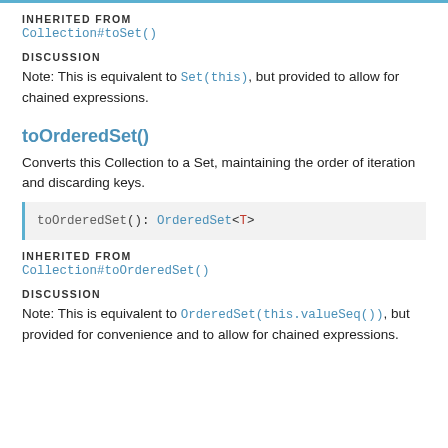INHERITED FROM
Collection#toSet()
DISCUSSION
Note: This is equivalent to Set(this), but provided to allow for chained expressions.
toOrderedSet()
Converts this Collection to a Set, maintaining the order of iteration and discarding keys.
toOrderedSet(): OrderedSet<T>
INHERITED FROM
Collection#toOrderedSet()
DISCUSSION
Note: This is equivalent to OrderedSet(this.valueSeq()), but provided for convenience and to allow for chained expressions.